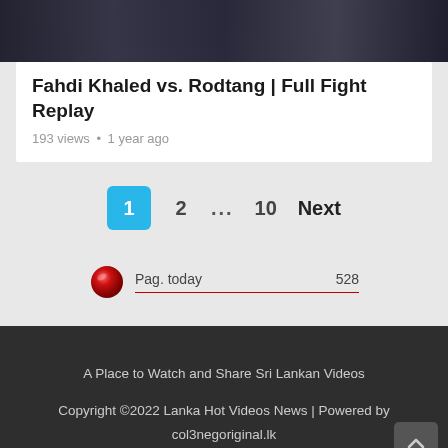[Figure (photo): Dark thumbnail image of a fight video at the top of the card]
Fahdi Khaled vs. Rodtang | Full Fight Replay
193 views • 1 year ago
1  2  ...  10  Next  (pagination)
Pag. today  528
A Place to Watch and Share Sri Lankan Videos
Copyright ©2022 Lanka Hot Videos News | Powered by col3negoriginal.lk